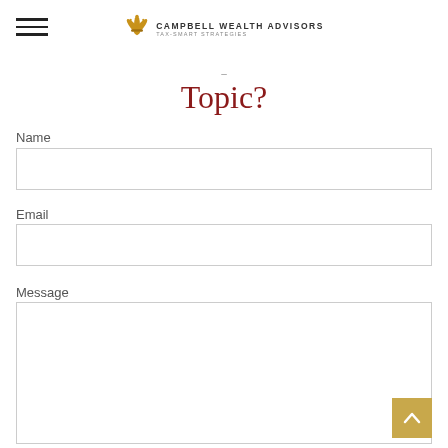Campbell Wealth Advisors — Tax-Smart Strategies
Topic?
Name
Email
Message